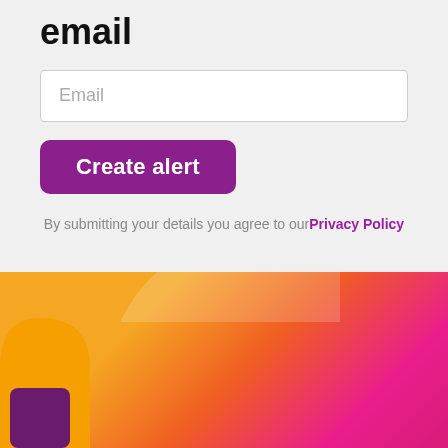email
Email
Create alert
By submitting your details you agree to ourPrivacy Policy
This website uses cookies to ensure you get the best experience on our website.
Read More
Got it!